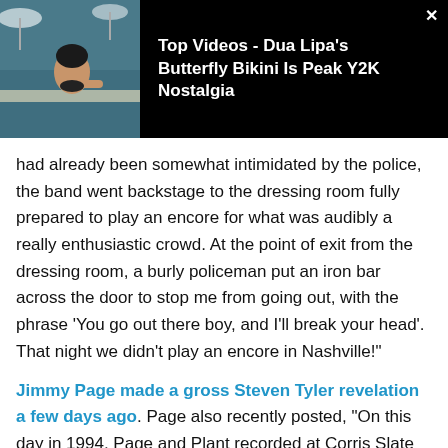[Figure (screenshot): Black banner with thumbnail image of a woman in a pool and text 'Top Videos - Dua Lipa's Butterfly Bikini Is Peak Y2K Nostalgia' in white bold text. A close (X) button in top right corner.]
had already been somewhat intimidated by the police, the band went backstage to the dressing room fully prepared to play an encore for what was audibly a really enthusiastic crowd. At the point of exit from the dressing room, a burly policeman put an iron bar across the door to stop me from going out, with the phrase ‘You go out there boy, and I’ll break your head’. That night we didn’t play an encore in Nashville!”
Jimmy Page made a gross Steven Tyler revelation a few days ago. Page also recently posted, “On this day in 1994, Page and Plant recorded at Corris Slate Quarry, Wales. 25 years after the last Sunday of Woodstock, in a doomy slate